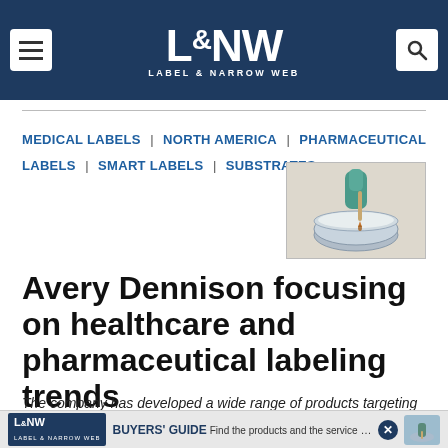L&NW LABEL & NARROW WEB
MEDICAL LABELS | NORTH AMERICA | PHARMACEUTICAL LABELS | SMART LABELS | SUBSTRATES
[Figure (photo): Gloved hand pipetting liquid into a laboratory container]
Avery Dennison focusing on healthcare and pharmaceutical labeling trends
The company has developed a wide range of products targeting health and wellness, which are top of mind for
[Figure (infographic): L&NW Buyers Guide advertisement banner: Find the products and the service you need in one location]